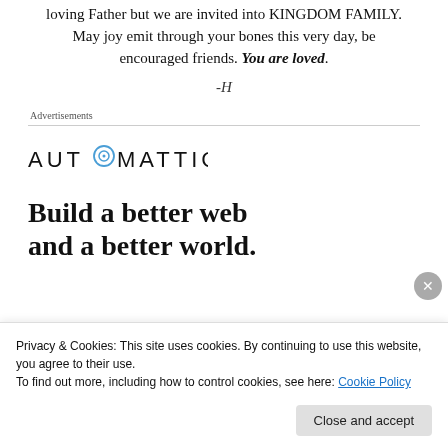loving Father but we are invited into KINGDOM FAMILY. May joy emit through your bones this very day, be encouraged friends. You are loved.
-H
Advertisements
[Figure (logo): Automattic logo text with a target/crosshair icon replacing the letter O]
Build a better web and a better world.
Privacy & Cookies: This site uses cookies. By continuing to use this website, you agree to their use.
To find out more, including how to control cookies, see here: Cookie Policy